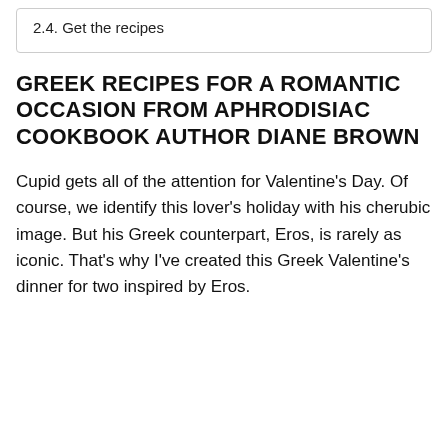2.4. Get the recipes
GREEK RECIPES FOR A ROMANTIC OCCASION FROM APHRODISIAC COOKBOOK AUTHOR DIANE BROWN
Cupid gets all of the attention for Valentine's Day. Of course, we identify this lover's holiday with his cherubic image. But his Greek counterpart, Eros, is rarely as iconic. That's why I've created this Greek Valentine's dinner for two inspired by Eros.